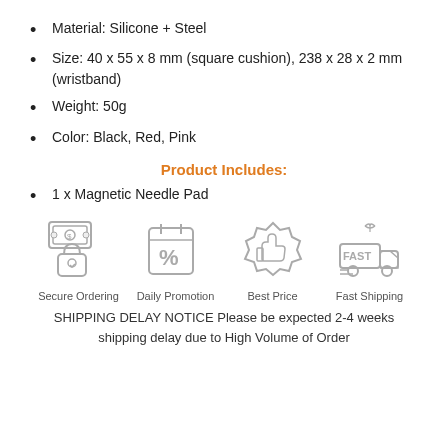Material: Silicone + Steel
Size: 40 x 55 x 8 mm (square cushion), 238 x 28 x 2 mm (wristband)
Weight: 50g
Color: Black, Red, Pink
Product Includes:
1 x Magnetic Needle Pad
[Figure (infographic): Four icons: Secure Ordering (padlock with money), Daily Promotion (calendar with percent), Best Price (thumbs up badge), Fast Shipping (delivery truck with gift bow and FAST label)]
SHIPPING DELAY NOTICE Please be expected 2-4 weeks shipping delay due to High Volume of Order